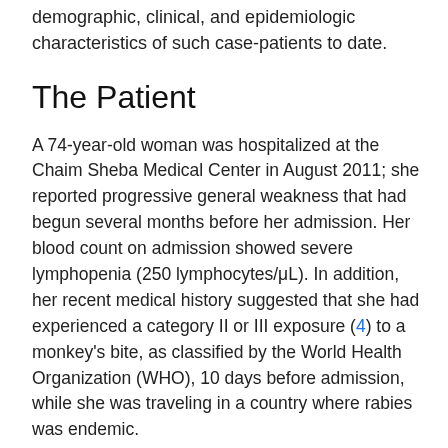demographic, clinical, and epidemiologic characteristics of such case-patients to date.
The Patient
A 74-year-old woman was hospitalized at the Chaim Sheba Medical Center in August 2011; she reported progressive general weakness that had begun several months before her admission. Her blood count on admission showed severe lymphopenia (250 lymphocytes/μL). In addition, her recent medical history suggested that she had experienced a category II or III exposure (4) to a monkey's bite, as classified by the World Health Organization (WHO), 10 days before admission, while she was traveling in a country where rabies was endemic.
The patient was treated with the standard PEP